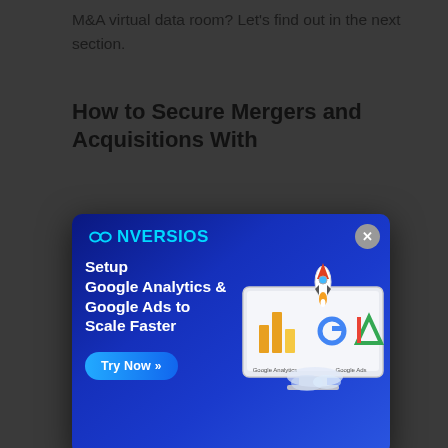M&A virtual data room? Let's find out in the next section.
How to Secure Mergers and Acquisitions With
[Figure (screenshot): Conversios advertisement popup with dark blue gradient background. Logo reads 'CONVERSIOS' with infinity symbol. Text: 'Setup Google Analytics & Google Ads to Scale Faster'. Blue 'Try Now >>' button. Right side shows a monitor with Google Analytics and Google Ads logos and a rocket launching above it.]
[Figure (photo): Dark image with large text reading 'SECURITY' partially visible, human figure silhouette in background.]
1. Real-Time Communication